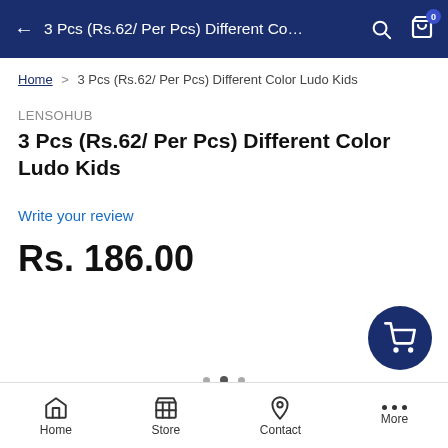← 3 Pcs (Rs.62/ Per Pcs) Different Co…
Home > 3 Pcs (Rs.62/ Per Pcs) Different Color Ludo Kids
LENSOHUB
3 Pcs (Rs.62/ Per Pcs) Different Color Ludo Kids
Write your review
Rs. 186.00
Home  Store  Contact  More